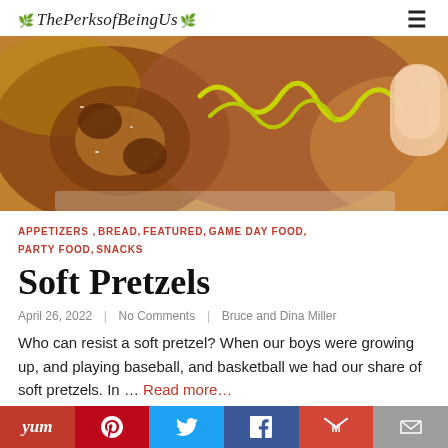ThePerksofBeingUs
[Figure (photo): Close-up photo of soft pretzels with yellow mustard drizzled on top, held by a hand, on a light background.]
APPETIZERS, BREAD, FEATURED, GAME DAY FOOD, PARTY FOOD, SNACKS
Soft Pretzels
April 26, 2022 | No Comments | Bruce and Dina Miller
Who can resist a soft pretzel? When our boys were growing up, and playing baseball, and basketball we had our share of soft pretzels. In ... Read more...